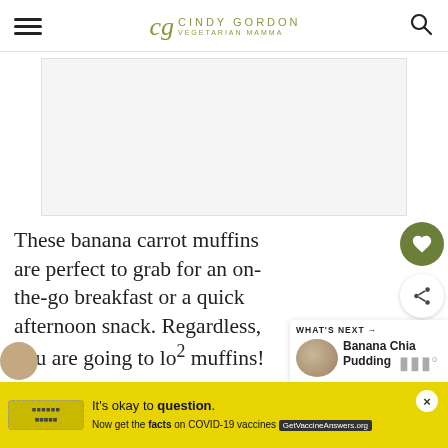cg CINDY GORDON VEGETARIAN MAMMA
[Figure (other): Advertisement placeholder rectangle, light gray background]
These banana carrot muffins are perfect to grab for an on-the-go breakfast or a quick afternoon snack. Regardless, you are going to lo[ve these] muffins!
[Figure (other): WHAT'S NEXT → Banana Chia Pudding sidebar widget with circular food photo]
[Figure (other): Yellow COVID-19 vaccine advertisement banner: It's okay to question. Now get the facts on COVID-19 vaccines GetVaccineAnswers.org]